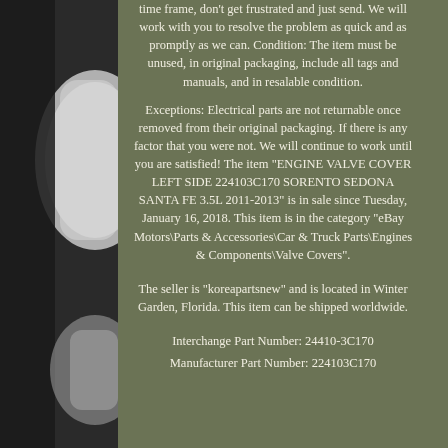[Figure (photo): Left side partial view of a vehicle engine valve cover part, dark/black object on dark background, partially visible on the left edge of the page.]
time frame, don't get frustrated and just send. We will work with you to resolve the problem as quick and as promptly as we can. Condition: The item must be unused, in original packaging, include all tags and manuals, and in resalable condition.

Exceptions: Electrical parts are not returnable once removed from their original packaging. If there is any factor that you were not. We will continue to work until you are satisfied! The item "ENGINE VALVE COVER LEFT SIDE 224103C170 SORENTO SEDONA SANTA FE 3.5L 2011-2013" is in sale since Tuesday, January 16, 2018. This item is in the category "eBay Motors\Parts & Accessories\Car & Truck Parts\Engines & Components\Valve Covers".

The seller is "koreapartsnew" and is located in Winter Garden, Florida. This item can be shipped worldwide.

Interchange Part Number: 24410-3C170
Manufacturer Part Number: 224103C170